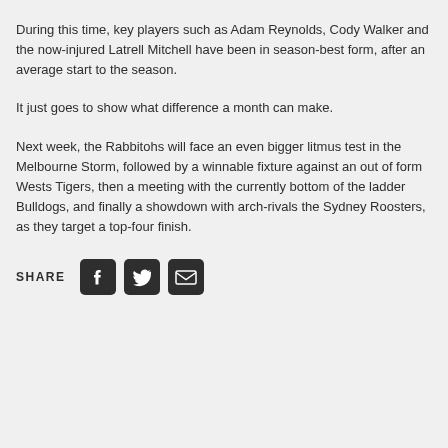During this time, key players such as Adam Reynolds, Cody Walker and the now-injured Latrell Mitchell have been in season-best form, after an average start to the season.
It just goes to show what difference a month can make.
Next week, the Rabbitohs will face an even bigger litmus test in the Melbourne Storm, followed by a winnable fixture against an out of form Wests Tigers, then a meeting with the currently bottom of the ladder Bulldogs, and finally a showdown with arch-rivals the Sydney Roosters, as they target a top-four finish.
SHARE [Facebook] [Twitter] [Email]